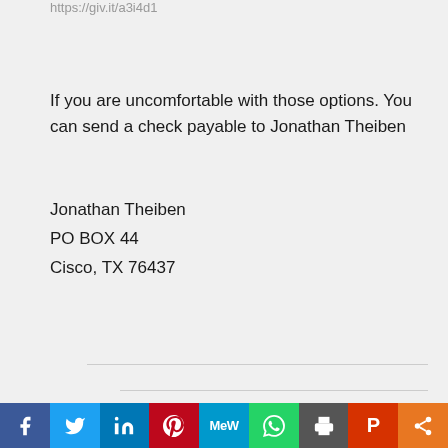https://giv.it/a3i4d1
If you are uncomfortable with those options. You can send a check payable to Jonathan Theiben
Jonathan Theiben
PO BOX 44
Cisco, TX 76437
Social share bar: Facebook, Twitter, LinkedIn, Pinterest, MeWe, WhatsApp, Print, Parler, Share